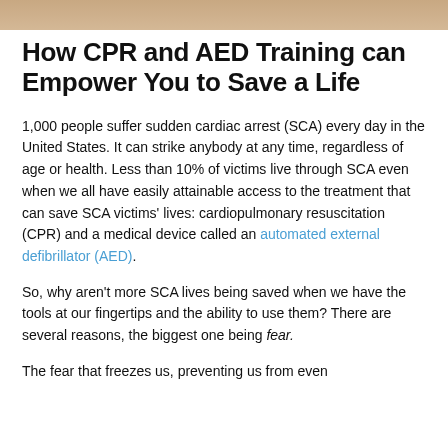[Figure (photo): Partial photo visible at top of page, brown/wood tones]
How CPR and AED Training can Empower You to Save a Life
1,000 people suffer sudden cardiac arrest (SCA) every day in the United States. It can strike anybody at any time, regardless of age or health. Less than 10% of victims live through SCA even when we all have easily attainable access to the treatment that can save SCA victims' lives: cardiopulmonary resuscitation (CPR) and a medical device called an automated external defibrillator (AED).
So, why aren't more SCA lives being saved when we have the tools at our fingertips and the ability to use them? There are several reasons, the biggest one being fear.
The fear that freezes us, preventing us from even